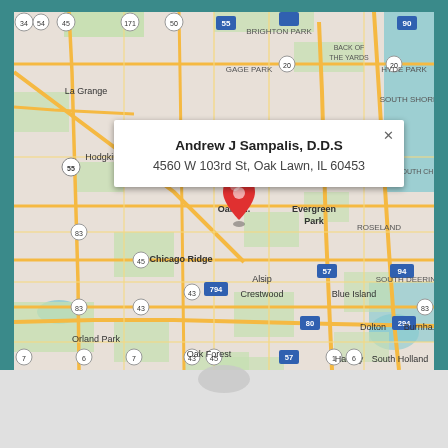[Figure (map): Google Maps screenshot showing the Chicago south suburbs area (Oak Lawn, Evergreen Park, Chicago Ridge, Blue Island, Orland Park, Tinley Park, etc.) with a red location pin marking the address of Andrew J Sampalis D.D.S. at 4560 W 103rd St, Oak Lawn, IL 60453. A white popup info box is shown with the provider name and address.]